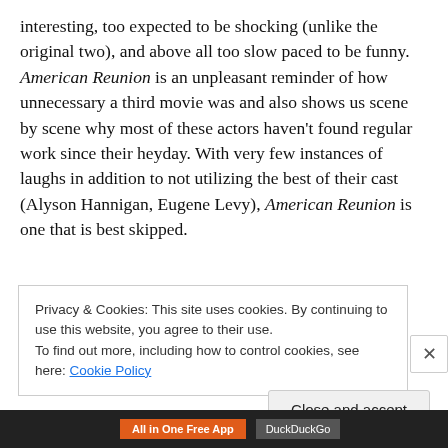interesting, too expected to be shocking (unlike the original two), and above all too slow paced to be funny. American Reunion is an unpleasant reminder of how unnecessary a third movie was and also shows us scene by scene why most of these actors haven't found regular work since their heyday. With very few instances of laughs in addition to not utilizing the best of their cast (Alyson Hannigan, Eugene Levy), American Reunion is one that is best skipped.
Privacy & Cookies: This site uses cookies. By continuing to use this website, you agree to their use. To find out more, including how to control cookies, see here: Cookie Policy